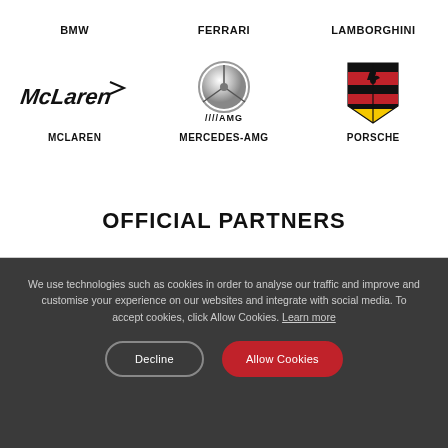BMW
FERRARI
LAMBORGHINI
[Figure (logo): McLaren logo - stylized italic text reading McLaren with a swoosh]
MCLAREN
[Figure (logo): Mercedes-AMG logo - Mercedes star emblem above AMG wordmark]
MERCEDES-AMG
[Figure (logo): Porsche logo - Porsche crest shield emblem]
PORSCHE
OFFICIAL PARTNERS
We use technologies such as cookies in order to analyse our traffic and improve and customise your experience on our websites and integrate with social media. To accept cookies, click Allow Cookies. Learn more
Decline
Allow Cookies